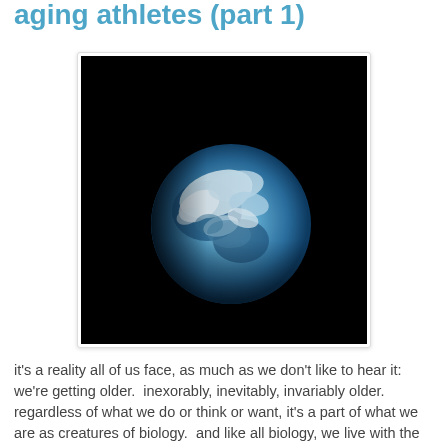aging athletes (part 1)
[Figure (photo): Earthrise photo showing the Earth partially illuminated against black space, similar to the iconic Apollo 8 photograph]
it's a reality all of us face, as much as we don't like to hear it: we're getting older.  inexorably, inevitably, invariably older.  regardless of what we do or think or want, it's a part of what we are as creatures of biology.  and like all biology, we live with the fundamental truth of our own mortality, as sure as